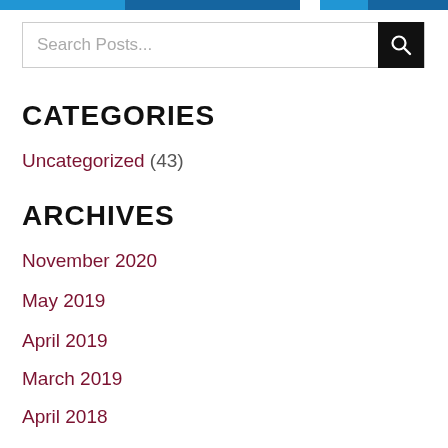[Figure (other): Top navigation bar with blue gradient segments]
Search Posts...
CATEGORIES
Uncategorized (43)
ARCHIVES
November 2020
May 2019
April 2019
March 2019
April 2018
June 2017